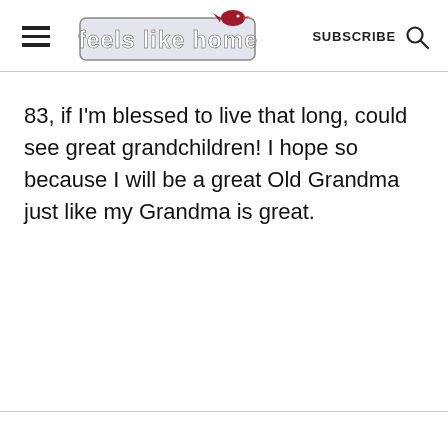feels like home
83, if I'm blessed to live that long, could see great grandchildren! I hope so because I will be a great Old Grandma just like my Grandma is great.